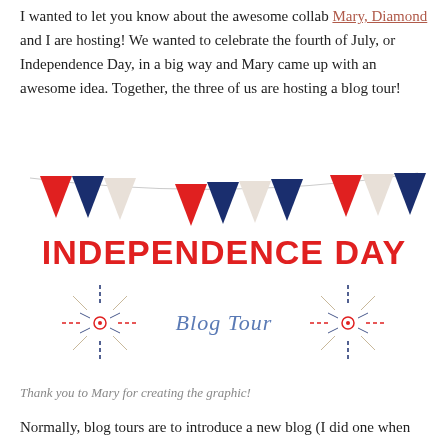I wanted to let you know about the awesome collab Mary, Diamond and I are hosting! We wanted to celebrate the fourth of July, or Independence Day, in a big way and Mary came up with an awesome idea. Together, the three of us are hosting a blog tour!
[Figure (illustration): Independence Day Blog Tour graphic with red and blue bunting triangles on a string, bold red text reading INDEPENDENCE DAY, cursive text reading Blog Tour, and decorative firework/starburst elements in red and blue on either side.]
Thank you to Mary for creating the graphic!
Normally, blog tours are to introduce a new blog (I did one when